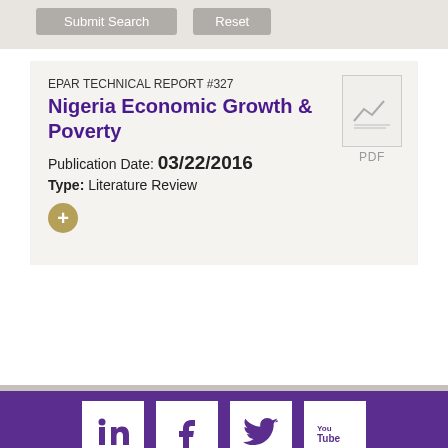Submit Search   Reset
EPAR TECHNICAL REPORT #327
Nigeria Economic Growth & Poverty
Publication Date: 03/22/2016
Type: Literature Review
[Figure (other): PDF document icon with chart line graphic and horizontal lines, labeled PDF]
[Figure (other): Social media icons row: LinkedIn, Facebook, Twitter, YouTube on purple footer background]